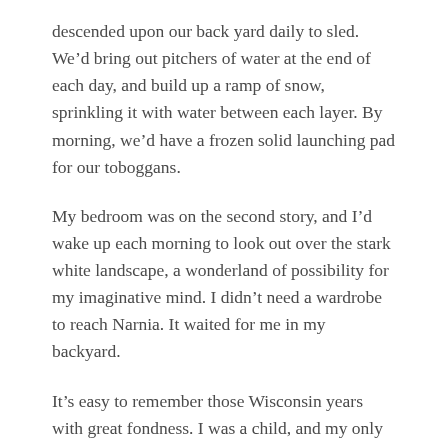descended upon our back yard daily to sled. We’d bring out pitchers of water at the end of each day, and build up a ramp of snow, sprinkling it with water between each layer. By morning, we’d have a frozen solid launching pad for our toboggans.
My bedroom was on the second story, and I’d wake up each morning to look out over the stark white landscape, a wonderland of possibility for my imaginative mind. I didn’t need a wardrobe to reach Narnia. It waited for me in my backyard.
It’s easy to remember those Wisconsin years with great fondness. I was a child, and my only responsibility was to bundle up and give in to the imagination. As an adult, I shudder at the thoughts of frigid winters and snowy fields, but as a child?
I lived for winter.
When a child, the memory of mothertongue